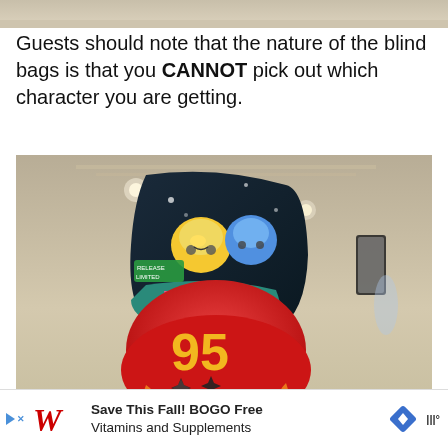[Figure (photo): Partial view of a hotel or resort ceiling/interior at top of page]
Guests should note that the nature of the blind bags is that you CANNOT pick out which character you are getting.
[Figure (photo): A Lightning McQueen plush toy held up in front of a Disney Wish blind bag packaging showing cartoon car characters, inside a hotel ballroom]
Save This Fall! BOGO Free Vitamins and Supplements